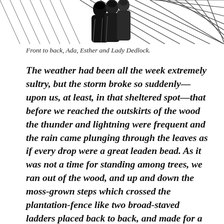[Figure (illustration): Black and white illustration showing three female figures – Ada, Esther and Lady Dedlock – depicted from front to back with dramatic cross-hatching lines in the background.]
Front to back, Ada, Esther and Lady Dedlock.
The weather had been all the week extremely sultry, but the storm broke so suddenly—upon us, at least, in that sheltered spot—that before we reached the outskirts of the wood the thunder and lightning were frequent and the rain came plunging through the leaves as if every drop were a great leaden bead. As it was not a time for standing among trees, we ran out of the wood, and up and down the moss-grown steps which crossed the plantation-fence like two broad-staved ladders placed back to back, and made for a keeper's lodge which was close at hand. We had often noticed the dark beauty of this lodge standing in a deep